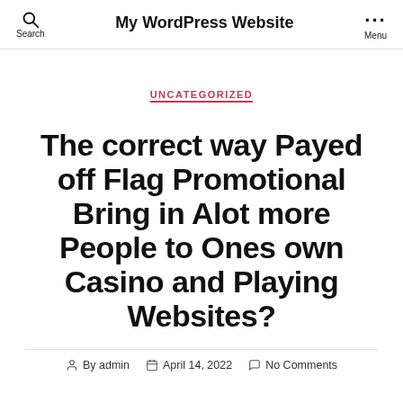My WordPress Website
UNCATEGORIZED
The correct way Payed off Flag Promotional Bring in Alot more People to Ones own Casino and Playing Websites?
By admin  April 14, 2022  No Comments